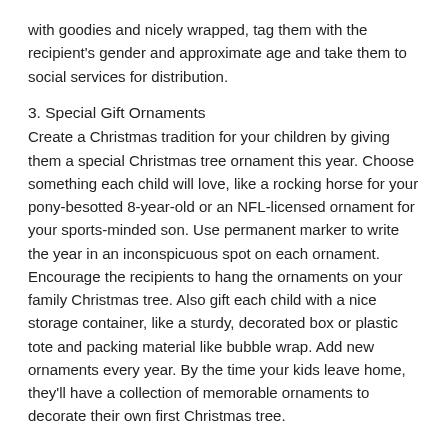with goodies and nicely wrapped, tag them with the recipient's gender and approximate age and take them to social services for distribution.
3. Special Gift Ornaments
Create a Christmas tradition for your children by giving them a special Christmas tree ornament this year. Choose something each child will love, like a rocking horse for your pony-besotted 8-year-old or an NFL-licensed ornament for your sports-minded son. Use permanent marker to write the year in an inconspicuous spot on each ornament. Encourage the recipients to hang the ornaments on your family Christmas tree. Also gift each child with a nice storage container, like a sturdy, decorated box or plastic tote and packing material like bubble wrap. Add new ornaments every year. By the time your kids leave home, they'll have a collection of memorable ornaments to decorate their own first Christmas tree.
Trending Articles
3 Tips For Farmers Shopping On National Thrift Shop Day